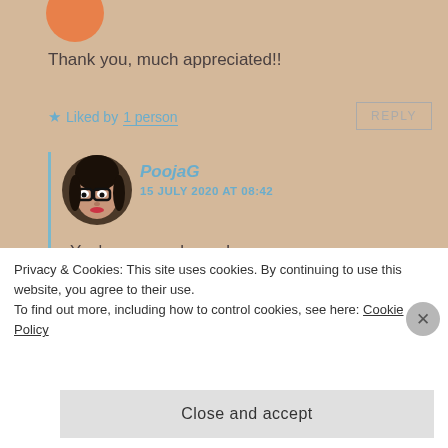Thank you, much appreciated!!
★ Liked by 1 person
REPLY
PoojaG
15 JULY 2020 AT 08:42
[Figure (photo): Round avatar photo of PoojaG, a person wearing glasses]
You're very welcome!
★ Liked by 1 person
Privacy & Cookies: This site uses cookies. By continuing to use this website, you agree to their use.
To find out more, including how to control cookies, see here: Cookie Policy
Close and accept